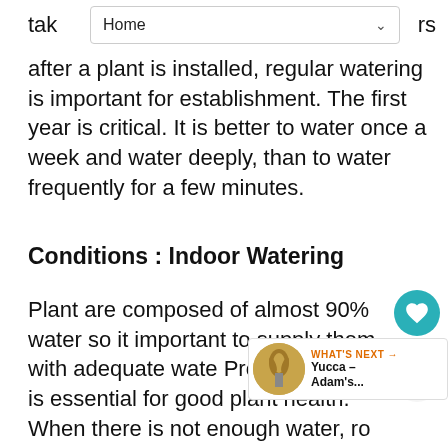Home
tak...rs after a plant is installed, regular watering is important for establishment. The first year is critical. It is better to water once a week and water deeply, than to water frequently for a few minutes.
Conditions : Indoor Watering
Plant are composed of almost 90% water so it important to supply them with adequate water. Proper watering is essential for good plant health. When there is not enough water, roo will wither and the plant will wilt. Wh much water is applied too frequently, roots are deprived of oxygen and diseases occur such